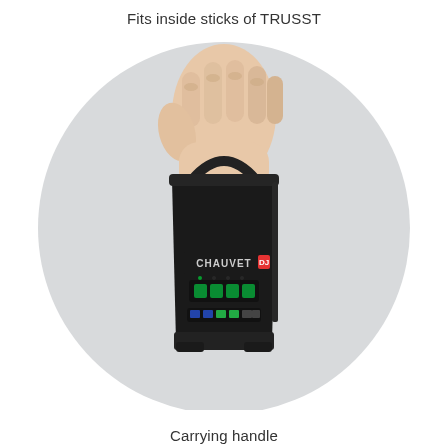Fits inside sticks of TRUSST
[Figure (photo): A hand gripping the carrying handle of a black CHAUVET DJ lighting fixture. The device is rectangular/trapezoidal in shape, matte black, with a CHAUVET DJ logo on the front panel, a digital display showing segment indicators, and several control buttons. The fixture has two stabilizing feet at the bottom. The image is set against a circular light gray background.]
Carrying handle